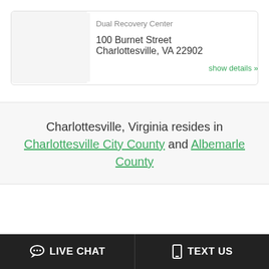[Figure (illustration): Green building/facility icon on light gray background]
Dual Recovery Center
100 Burnet Street
Charlottesville, VA 22902
show details »
Charlottesville, Virginia resides in Charlottesville City County and Albemarle County
LIVE CHAT
TEXT US